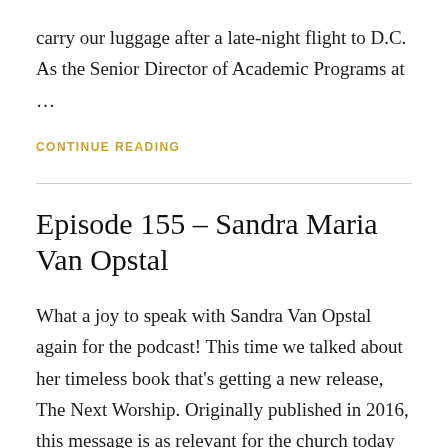carry our luggage after a late-night flight to D.C. As the Senior Director of Academic Programs at …
CONTINUE READING
Episode 155 – Sandra Maria Van Opstal
What a joy to speak with Sandra Van Opstal again for the podcast! This time we talked about her timeless book that's getting a new release, The Next Worship. Originally published in 2016, this message is as relevant for the church today as it was when it first appeared in bookstores (in some ways, maybe …